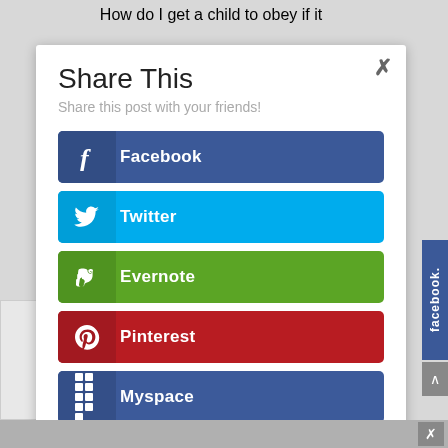How do I get a child to obey if it
[Figure (screenshot): Social media share dialog modal with buttons for Facebook, Twitter, Evernote, Pinterest, Myspace, and Blogger. Each button has a colored background with an icon on the left and the platform name in bold white text.]
Share This
Share this post with your friends!
Facebook
Twitter
Evernote
Pinterest
Myspace
Blogger